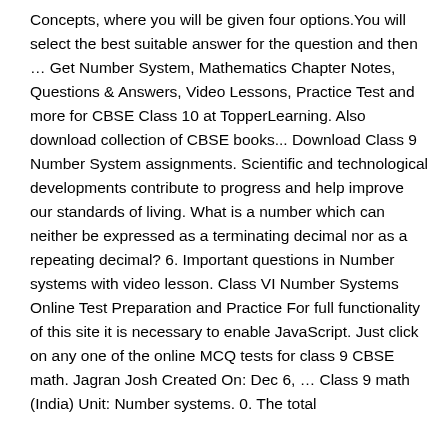Concepts, where you will be given four options.You will select the best suitable answer for the question and then … Get Number System, Mathematics Chapter Notes, Questions & Answers, Video Lessons, Practice Test and more for CBSE Class 10 at TopperLearning. Also download collection of CBSE books... Download Class 9 Number System assignments. Scientific and technological developments contribute to progress and help improve our standards of living. What is a number which can neither be expressed as a terminating decimal nor as a repeating decimal? 6. Important questions in Number systems with video lesson. Class VI Number Systems Online Test Preparation and Practice For full functionality of this site it is necessary to enable JavaScript. Just click on any one of the online MCQ tests for class 9 CBSE math. Jagran Josh Created On: Dec 6, … Class 9 math (India) Unit: Number systems. 0. The total